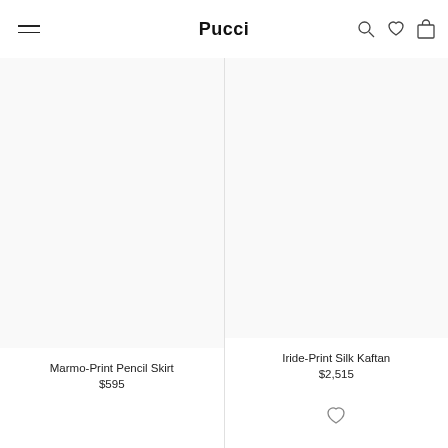Pucci
Marmo-Print Pencil Skirt
$595
Iride-Print Silk Kaftan
$2,515